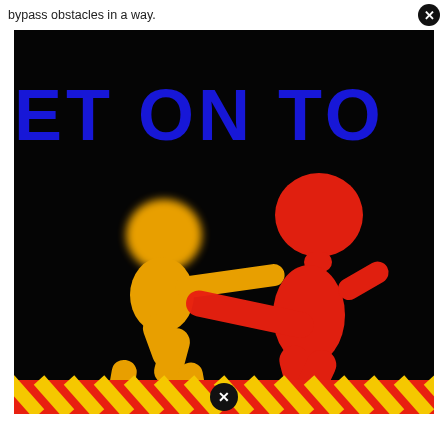bypass obstacles in a way.
[Figure (photo): Dark background image showing two colorful figure toys, one yellow and one red, in a pushing/wrestling pose. Blue text partially visible in background reading 'ET ON TO'. At the bottom is a striped red and yellow bar pattern.]